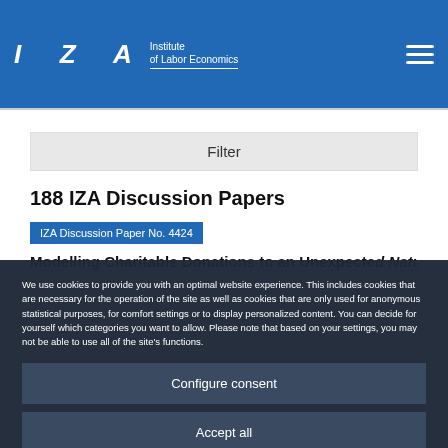IZA Institute of Labor Economics
Filter
188 IZA Discussion Papers
IZA Discussion Paper No. 4424
Modelling Charitable Donations to an Unexpected Natur...
We use cookies to provide you with an optimal website experience. This includes cookies that are necessary for the operation of the site as well as cookies that are only used for anonymous statistical purposes, for comfort settings or to display personalized content. You can decide for yourself which categories you want to allow. Please note that based on your settings, you may not be able to use all of the site's functions.
Configure consent
Accept all
Ghazala Azmat, Libertad Gonzalez